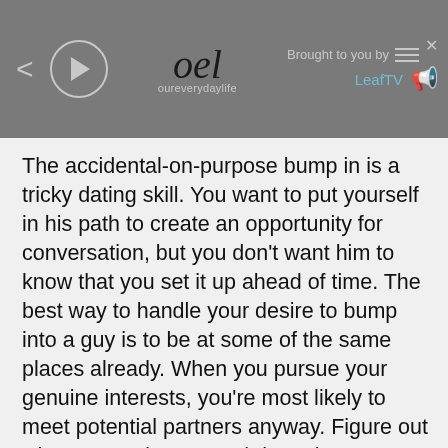oureverydaylife | Brought to you by LeafTV
The accidental-on-purpose bump in is a tricky dating skill. You want to put yourself in his path to create an opportunity for conversation, but you don't want him to know that you set it up ahead of time. The best way to handle your desire to bump into a guy is to be at some of the same places already. When you pursue your genuine interests, you're most likely to meet potential partners anyway. Figure out what you and your crush have in common, and then make an effort to pursue that interest more actively in the hopes that you'll be in the same place at the same time.